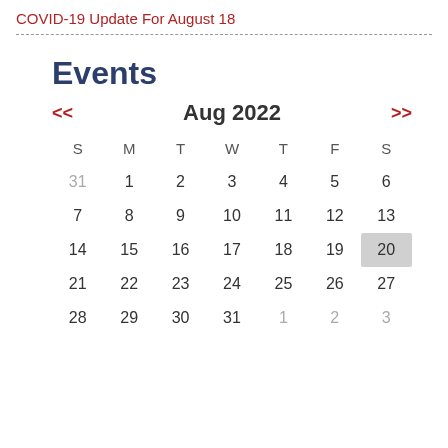COVID-19 Update For August 18
Events
[Figure (other): Calendar widget showing August 2022 with navigation arrows << and >>. Days of week headers S M T W T F S. Week rows: 31(gray) 1 2 3 4 5 6; 7 8 9 10 11 12 13; 14 15 16 17 18 19 20(highlighted); 21 22 23 24 25 26 27; 28 29 30 31 1(gray) 2(gray) 3(gray).]